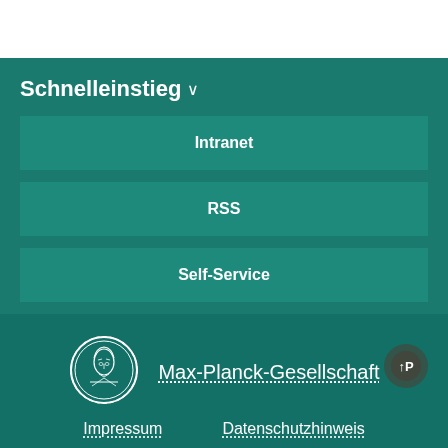Schnelleinstieg ∨
Intranet
RSS
Self-Service
[Figure (logo): Max-Planck-Gesellschaft circular medallion logo in white line art on teal background]
Max-Planck-Gesellschaft
Impressum
Datenschutzhinweis
© 2022, MPI für Polymerforschung